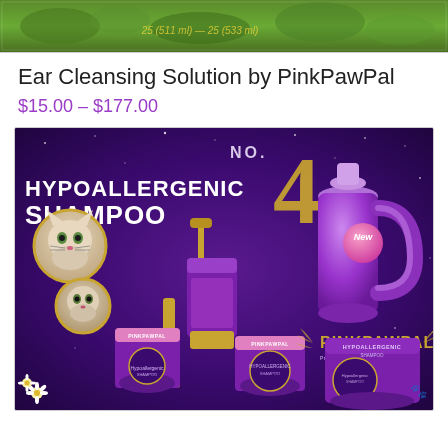[Figure (photo): Green outdoor/nature banner image strip at top of product listing page]
Ear Cleansing Solution by PinkPawPal
$15.00 – $177.00
[Figure (photo): Product advertisement image on dark purple background. Text reads 'NO. 4 HYPOALLERGENIC SHAMPOO' with large golden number 4. Shows purple jug, pump bottle, and various PinkPawPal branded grooming product containers. Circular insets show two white cats. 'PINKPAWPAL' branding visible. 'New' badge on jug. Daisy flowers in corner.]